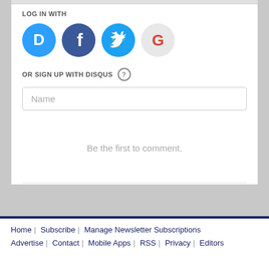LOG IN WITH
[Figure (logo): Social login icons: Disqus (blue), Facebook (dark blue), Twitter (light blue), Google (red/white)]
OR SIGN UP WITH DISQUS ?
Name
Be the first to comment.
Subscribe  Add Disqus  Do Not Sell My Data  DISQUS
Home | Subscribe | Manage Newsletter Subscriptions | Advertise | Contact | Mobile Apps | RSS | Privacy | Editors